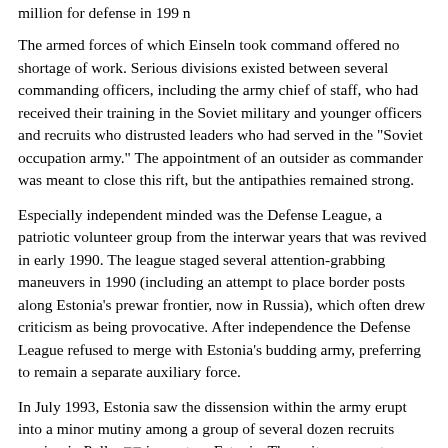million for defense in 199 n
The armed forces of which Einseln took command offered no shortage of work. Serious divisions existed between several commanding officers, including the army chief of staff, who had received their training in the Soviet military and younger officers and recruits who distrusted leaders who had served in the "Soviet occupation army." The appointment of an outsider as commander was meant to close this rift, but the antipathies remained strong.
Especially independent minded was the Defense League, a patriotic volunteer group from the interwar years that was revived in early 1990. The league staged several attention-grabbing maneuvers in 1990 (including an attempt to place border posts along Estonia's prewar frontier, now in Russia), which often drew criticism as being provocative. After independence the Defense League refused to merge with Estonia's budding army, preferring to remain a separate auxiliary force.
In July 1993, Estonia saw the dissension within the army erupt into a minor mutiny among a group of several dozen recruits serving in Pullap�� in western Estonia. The unit was upset over poor treatment during a mission in which it had been ordered to take control of parts of the former Russian military town of Paldiski. In protest, members of the group declared their intention to leave the Estonian army and devote their efforts to fighting organized crime.